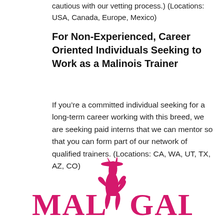cautious with our vetting process.) (Locations: USA, Canada, Europe, Mexico)
For Non-Experienced, Career Oriented Individuals Seeking to Work as a Malinois Trainer
If you’re a committed individual seeking for a long-term career working with this breed, we are seeking paid interns that we can mentor so that you can form part of our network of qualified trainers. (Locations: CA, WA, UT, TX, AZ, CO)
[Figure (logo): MAL GAL logo with a pink dog silhouette of a jumping Malinois between the two words]